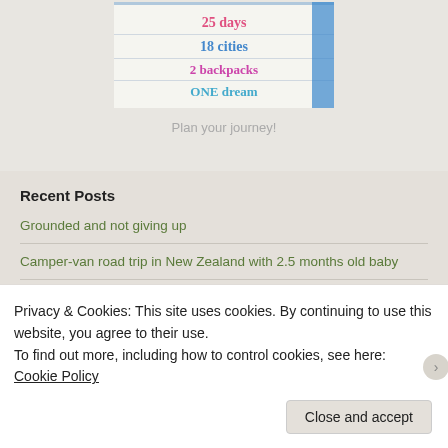[Figure (photo): Travel sign image showing text: 25 days, 18 cities, 2 backpacks, ONE dream on a lined notebook background with colorful letters]
Plan your journey!
Recent Posts
Grounded and not giving up
Camper-van road trip in New Zealand with 2.5 months old baby
Privacy & Cookies: This site uses cookies. By continuing to use this website, you agree to their use.
To find out more, including how to control cookies, see here: Cookie Policy
Close and accept